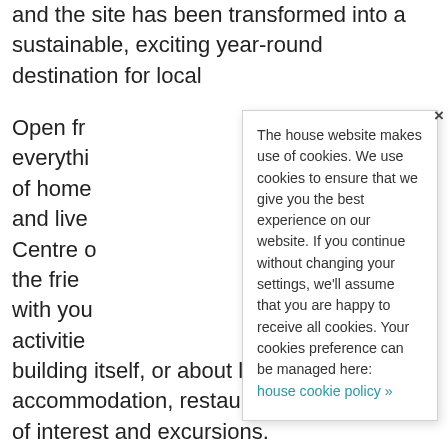and the site has been transformed into a sustainable, exciting year-round destination for local
Open fr everything of home and live Centre o the frie with yo activitie building itself, or about local accommodation, restaurants, other places of interest and excursions.
The house website makes use of cookies. We use cookies to ensure that we give you the best experience on our website. If you continue without changing your settings, we'll assume that you are happy to receive all cookies. Your cookies preference can be managed here: house cookie policy »
All of the events at Wells Maltings are also listed in the 'What's On' section of this website